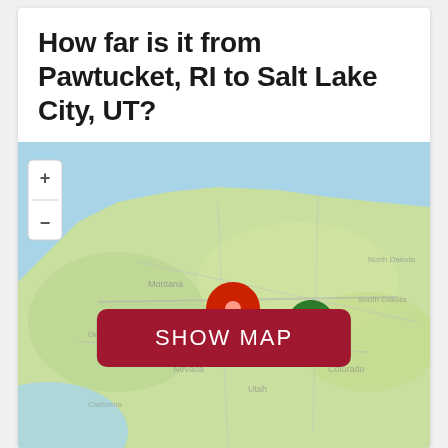How far is it from Pawtucket, RI to Salt Lake City, UT?
[Figure (map): Blurred map of the western United States showing a route between two pin markers — a red pin and a green pin — indicating locations related to Pawtucket, RI and Salt Lake City, UT. A 'SHOW MAP' button overlays the center of the map.]